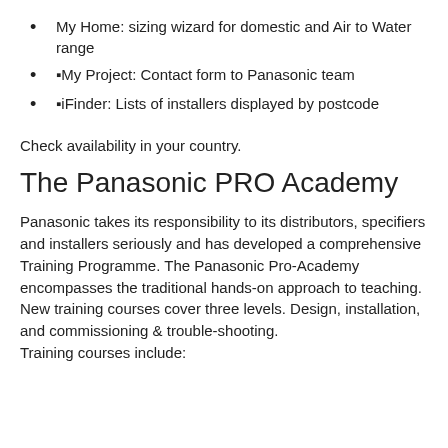My Home: sizing wizard for domestic and Air to Water range
▪My Project: Contact form to Panasonic team
▪iFinder: Lists of installers displayed by postcode
Check availability in your country.
The Panasonic PRO Academy
Panasonic takes its responsibility to its distributors, specifiers and installers seriously and has developed a comprehensive Training Programme. The Panasonic Pro-Academy encompasses the traditional hands-on approach to teaching.
New training courses cover three levels. Design, installation, and commissioning & trouble-shooting.
Training courses include: